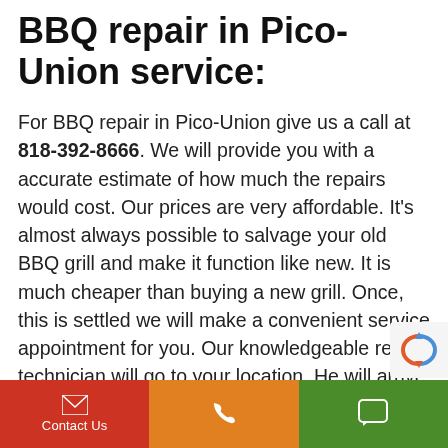BBQ repair in Pico-Union service:
For BBQ repair in Pico-Union give us a call at 818-392-8666. We will provide you with a accurate estimate of how much the repairs would cost. Our prices are very affordable. It's almost always possible to salvage your old BBQ grill and make it function like new. It is much cheaper than buying a new grill. Once, this is settled we will make a convenient service appointment for you. Our knowledgeable repair technician will go to your location. He will arrive on time with all the tools and parts necessary to fix your appliance. We bring most of the appliance parts with us.
Contact Us | phone | SMS